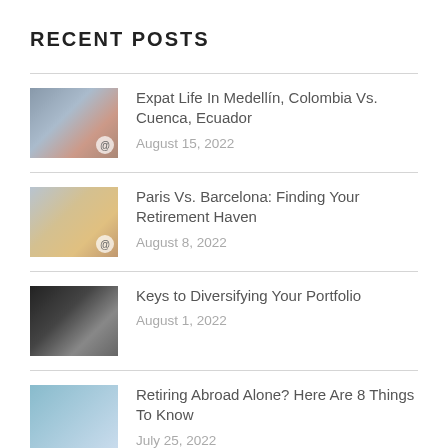RECENT POSTS
Expat Life In Medellín, Colombia Vs. Cuenca, Ecuador
August 15, 2022
Paris Vs. Barcelona: Finding Your Retirement Haven
August 8, 2022
Keys to Diversifying Your Portfolio
August 1, 2022
Retiring Abroad Alone? Here Are 8 Things To Know
July 25, 2022
Why Adapting To Life In The Dominican Republic Is Easy For Expats
July 18, 2022